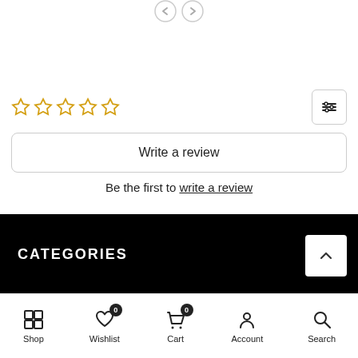[Figure (screenshot): Two overlapping circle/arrow navigation icons at top center]
[Figure (other): Five empty star rating icons in gold/yellow outline]
[Figure (other): Filter/sliders icon button on the right]
Write a review
Be the first to write a review
CATEGORIES
[Figure (other): Scroll to top button with upward chevron]
Shop | Wishlist 0 | Cart 0 | Account | Search